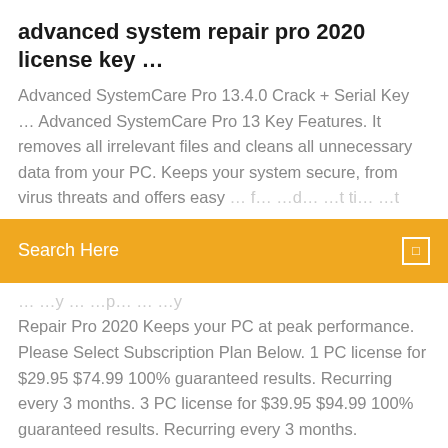advanced system repair pro 2020 license key …
Advanced SystemCare Pro 13.4.0 Crack + Serial Key … Advanced SystemCare Pro 13 Key Features. It removes all irrelevant files and cleans all unnecessary data from your PC. Keeps your system secure, from virus threats and offers easy … (partially cut off)
[Figure (screenshot): Orange search bar overlay with text 'Search Here' and a small square icon on the right]
Repair Pro 2020 Keeps your PC at peak performance. Please Select Subscription Plan Below. 1 PC license for $29.95 $74.99 100% guaranteed results. Recurring every 3 months. 3 PC license for $39.95 $94.99 100% guaranteed results. Recurring every 3 months. Unlimited PC's license for $49.95 $124.99 100% guaranteed results. Recurring every 3 months. CREDIT CARD: PAYPAL: Your PC Advanced System Repair Pro v1.8.2.2 + Crack … Advanced System Repair Pro is designed to protect your privacy by cleaning up all your unwanted history data on your